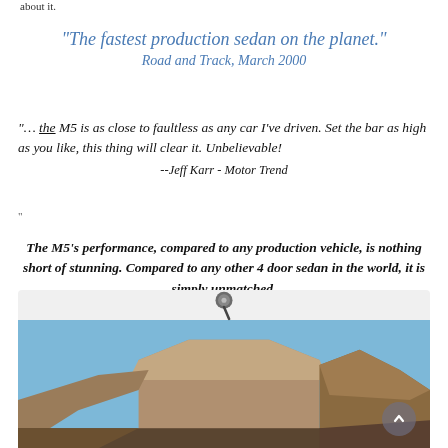about it.
"The fastest production sedan on the planet."
Road and Track, March 2000
"... the M5 is as close to faultless as any car I've driven. Set the bar as high as you like, this thing will clear it. Unbelievable!
--Jeff Karr - Motor Trend
The M5's performance, compared to any production vehicle, is nothing short of stunning. Compared to any other 4 door sedan in the world, it is simply unmatched.
Car and Driver Magazine
[Figure (photo): A pushpin/thumbtack icon above a landscape photo showing a rocky mountain mesa or butte against a blue sky.]